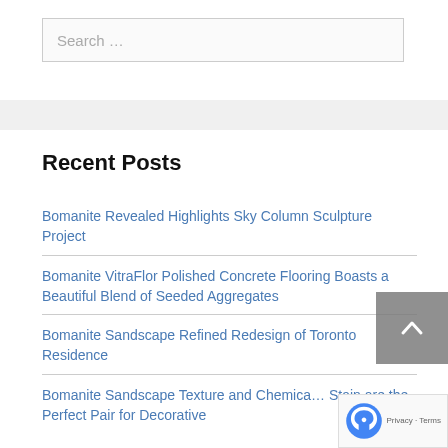Search …
Recent Posts
Bomanite Revealed Highlights Sky Column Sculpture Project
Bomanite VitraFlor Polished Concrete Flooring Boasts a Beautiful Blend of Seeded Aggregates
Bomanite Sandscape Refined Redesign of Toronto Residence
Bomanite Sandscape Texture and Chemical Stain are the Perfect Pair for Decorative…